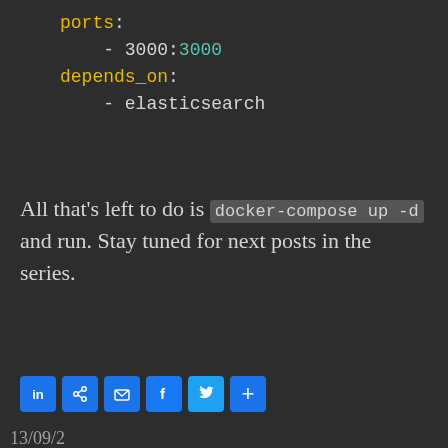ports:
    - 3000:3000
depends_on:
    - elasticsearch
All that's left to do is docker-compose up -d and run. Stay tuned for next posts in the series.
[Figure (other): Social sharing buttons: LinkedIn, Link, Email, Facebook, Twitter, Plus/More]
13/09/2019 / Infrastructure / monitoring